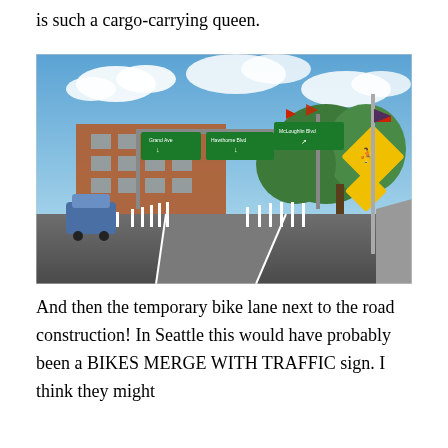is such a cargo-carrying queen.
[Figure (photo): Street-level photo of a road intersection in Portland showing temporary bike lane separated from traffic by white bollards, with green highway directional signs overhead (Grand Ave, Hawthorne Blvd, McLoughlin Blvd), a yellow diamond pedestrian/bicycle warning sign, trees and a brick building in the background, and a blue sky with clouds.]
And then the temporary bike lane next to the road construction! In Seattle this would have probably been a BIKES MERGE WITH TRAFFIC sign. I think they might